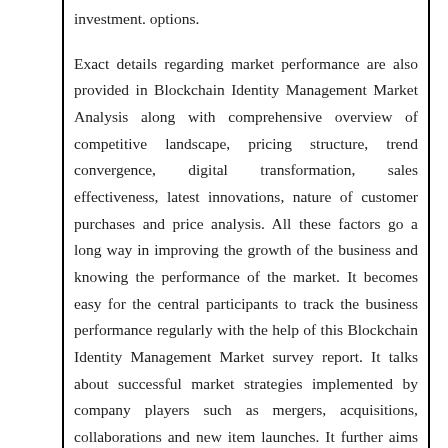investment. options.
Exact details regarding market performance are also provided in Blockchain Identity Management Market Analysis along with comprehensive overview of competitive landscape, pricing structure, trend convergence, digital transformation, sales effectiveness, latest innovations, nature of customer purchases and price analysis. All these factors go a long way in improving the growth of the business and knowing the performance of the market. It becomes easy for the central participants to track the business performance regularly with the help of this Blockchain Identity Management Market survey report. It talks about successful market strategies implemented by company players such as mergers, acquisitions, collaborations and new item launches. It further aims to examine all compelling viewpoints from different major players from manufacturers to end-buyer. Annual revenue, industry growth factors, and market tactics are some of the